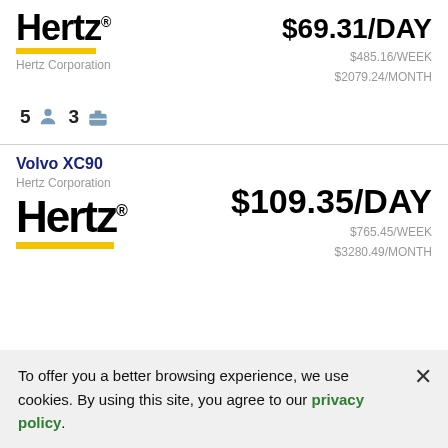[Figure (logo): Hertz logo with yellow bar and 'Hertz Corporation' company name label — top card]
$69.31/DAY
$485.16/WEEK
$2079.24/MONTH
5 [person icon] 3 [bag icon]
[Figure (logo): Hertz logo with yellow bar — second card]
Volvo XC90
Hertz Corporation
$109.35/DAY
$765.45/WEEK
$3280.49/MONTH
To offer you a better browsing experience, we use cookies. By using this site, you agree to our privacy policy.